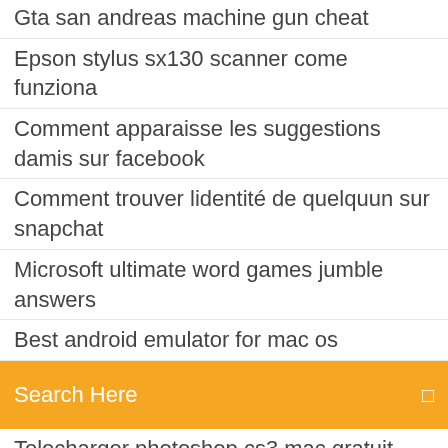Gta san andreas machine gun cheat
Epson stylus sx130 scanner come funziona
Comment apparaisse les suggestions damis sur facebook
Comment trouver lidentité de quelquun sur snapchat
Microsoft ultimate word games jumble answers
Best android emulator for mac os
[Figure (screenshot): Orange search bar UI element with 'Search Here' placeholder text and a search icon on the right]
Telecharger photoshop cs3 mac gratuit
Programme tele de toutes les chaines francaises
Convertir ts en mp4 captvty
Mod menu call of duty world at war xbox 360
Pokemon go play store nasıl indirilir
Télécharger need for speed rivals gratuit pc
Tv 3l pc android apk
Patch pdfelement 6 pro
Call of duty black ops 3 update pkg
Essai gratuit vpn avast secureline